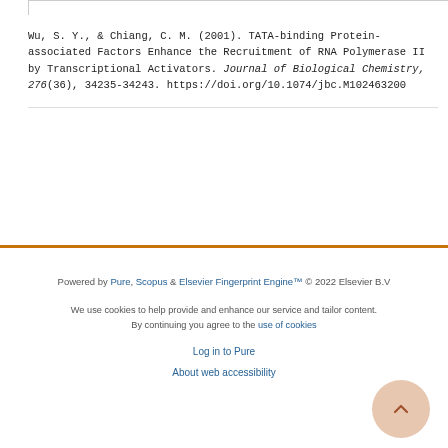Wu, S. Y., & Chiang, C. M. (2001). TATA-binding Protein-associated Factors Enhance the Recruitment of RNA Polymerase II by Transcriptional Activators. Journal of Biological Chemistry, 276(36), 34235-34243. https://doi.org/10.1074/jbc.M102463200
Powered by Pure, Scopus & Elsevier Fingerprint Engine™ © 2022 Elsevier B.V
We use cookies to help provide and enhance our service and tailor content. By continuing you agree to the use of cookies
Log in to Pure
About web accessibility